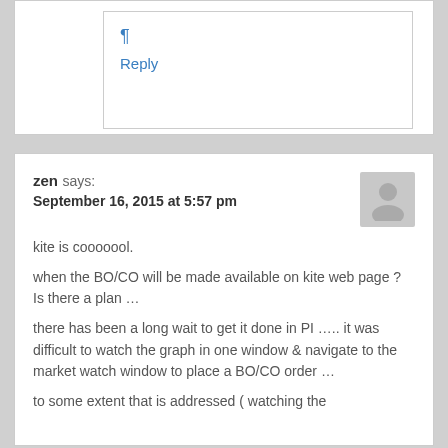¶
Reply
zen says:
September 16, 2015 at 5:57 pm
kite is cooooool.
when the BO/CO will be made available on kite web page ? Is there a plan …
there has been a long wait to get it done in PI ….. it was difficult to watch the graph in one window & navigate to the market watch window to place a BO/CO order …
to some extent that is addressed ( watching the